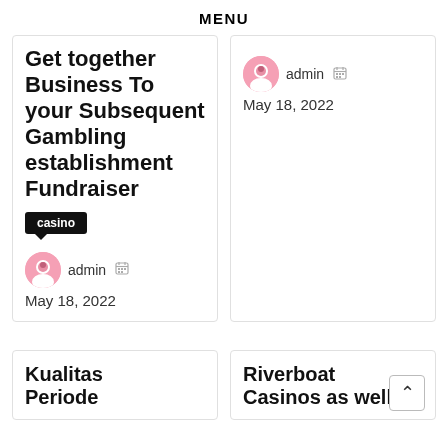MENU
Get together Business To your Subsequent Gambling establishment Fundraiser
casino
admin  May 18, 2022
admin  May 18, 2022
Kualitas Periode
Riverboat Casinos as well